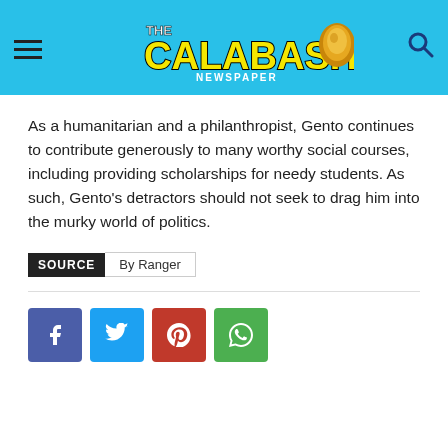THE CALABASH NEWSPAPER
As a humanitarian and a philanthropist, Gento continues to contribute generously to many worthy social courses, including providing scholarships for needy students. As such, Gento’s detractors should not seek to drag him into the murky world of politics.
SOURCE  By Ranger
[Figure (infographic): Social media share buttons: Facebook (blue-purple), Twitter (light blue), Pinterest (red), WhatsApp (green)]